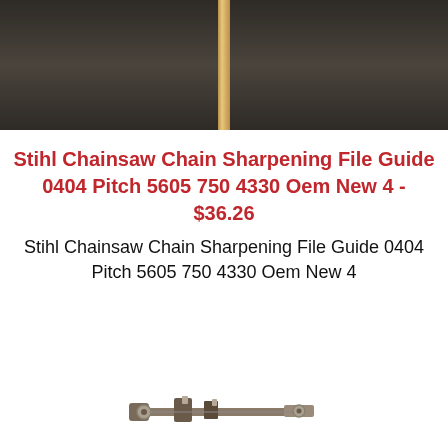[Figure (photo): Top photo of dark background with vertical wooden/metal bar in the center]
Stihl Chainsaw Chain Sharpening File Guide 0404 Pitch 5605 750 4330 Oem New 4 - $36.26
Stihl Chainsaw Chain Sharpening File Guide 0404 Pitch 5605 750 4330 Oem New 4
[Figure (photo): Partial photo at bottom showing a chainsaw file guide tool]